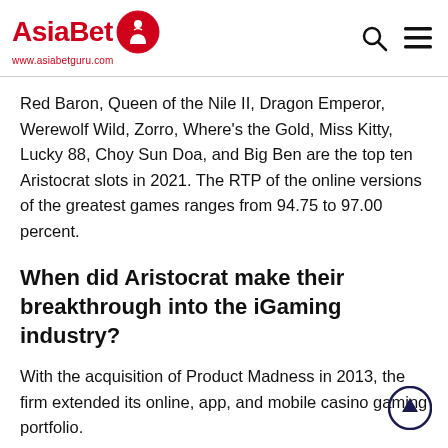AsiaBet www.asiabetguru.com
Red Baron, Queen of the Nile II, Dragon Emperor, Werewolf Wild, Zorro, Where's the Gold, Miss Kitty, Lucky 88, Choy Sun Doa, and Big Ben are the top ten Aristocrat slots in 2021. The RTP of the online versions of the greatest games ranges from 94.75 to 97.00 percent.
When did Aristocrat make their breakthrough into the iGaming industry?
With the acquisition of Product Madness in 2013, the firm extended its online, app, and mobile casino gaming portfolio.